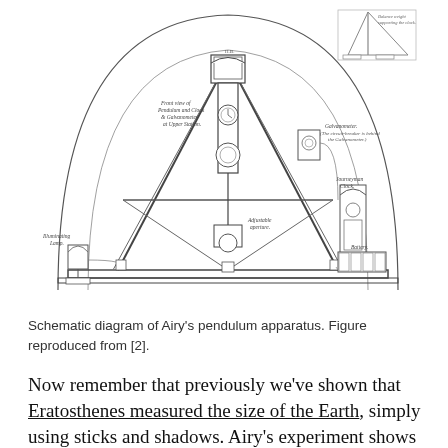[Figure (schematic): Schematic diagram of Airy's pendulum apparatus, showing a large triangular frame structure with pendulum, clock, galvanometer, illuminating lamp, battery, and various labeled components including 'Front view of Pendulum and Clock & Galvanometer at Upper Station', 'Galvanometer', 'Journeyman Clock', 'Illuminating Lamp', 'Adjustable aperture', 'Battery', and 'Balance weight supporting the clock'.]
Schematic diagram of Airy's pendulum apparatus. Figure reproduced from [2].
Now remember that previously we've shown that Eratosthenes measured the size of the Earth, simply using sticks and shadows. Airy's experiment shows that once you know the size of Earth, you can get a decent